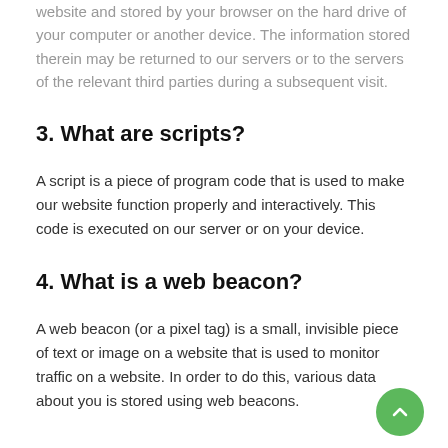website and stored by your browser on the hard drive of your computer or another device. The information stored therein may be returned to our servers or to the servers of the relevant third parties during a subsequent visit.
3. What are scripts?
A script is a piece of program code that is used to make our website function properly and interactively. This code is executed on our server or on your device.
4. What is a web beacon?
A web beacon (or a pixel tag) is a small, invisible piece of text or image on a website that is used to monitor traffic on a website. In order to do this, various data about you is stored using web beacons.